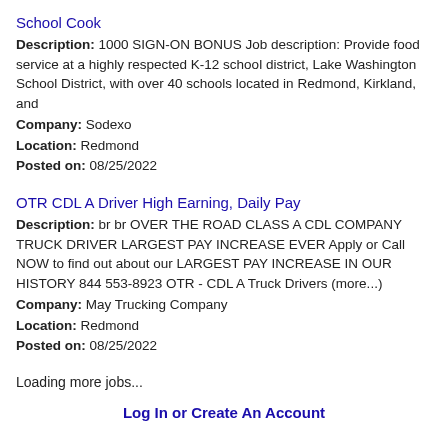School Cook
Description: 1000 SIGN-ON BONUS Job description: Provide food service at a highly respected K-12 school district, Lake Washington School District, with over 40 schools located in Redmond, Kirkland, and
Company: Sodexo
Location: Redmond
Posted on: 08/25/2022
OTR CDL A Driver High Earning, Daily Pay
Description: br br OVER THE ROAD CLASS A CDL COMPANY TRUCK DRIVER LARGEST PAY INCREASE EVER Apply or Call NOW to find out about our LARGEST PAY INCREASE IN OUR HISTORY 844 553-8923 OTR - CDL A Truck Drivers (more...)
Company: May Trucking Company
Location: Redmond
Posted on: 08/25/2022
Loading more jobs...
Log In or Create An Account